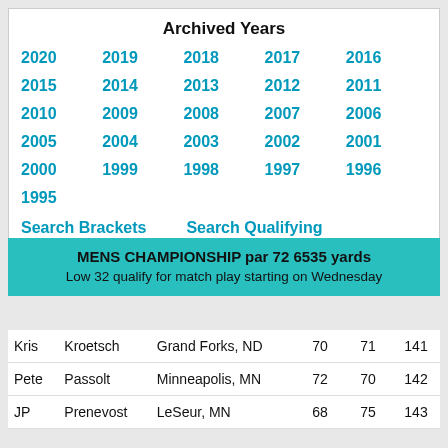Archived Years
2020  2019  2018  2017  2016  2015  2014  2013  2012  2011  2010  2009  2008  2007  2006  2005  2004  2003  2002  2001  2000  1999  1998  1997  1996  1995
Search Brackets    Search Qualifying
MENS CHAMPIONSHIP par 72 6535 yards
Low 32 qualify for match play starting on Wednesday
| First | Last | City | R1 | R2 | Total |
| --- | --- | --- | --- | --- | --- |
| Kris | Kroetsch | Grand Forks, ND | 70 | 71 | 141 |
| Pete | Passolt | Minneapolis, MN | 72 | 70 | 142 |
| JP | Prenevost | LeSeur, MN | 68 | 75 | 143 |